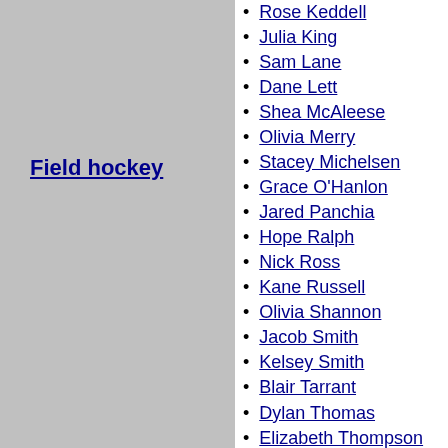Field hockey
Rose Keddell
Julia King
Sam Lane
Dane Lett
Shea McAleese
Olivia Merry
Stacey Michelsen
Grace O'Hanlon
Jared Panchia
Hope Ralph
Nick Ross
Kane Russell
Olivia Shannon
Jacob Smith
Kelsey Smith
Blair Tarrant
Dylan Thomas
Elizabeth Thompson
Nick Wilson
Nic Woods
Elizabeth Anton
Joe Bell
C. J. Bott
Katie Bowen
Michael Boxall